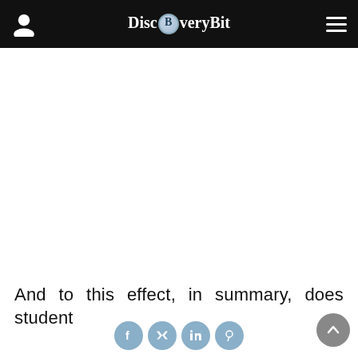DiscBveryBit
And to this effect, in summary, does student
[Figure (other): Social media share icons: Facebook, Twitter, LinkedIn, Pinterest]